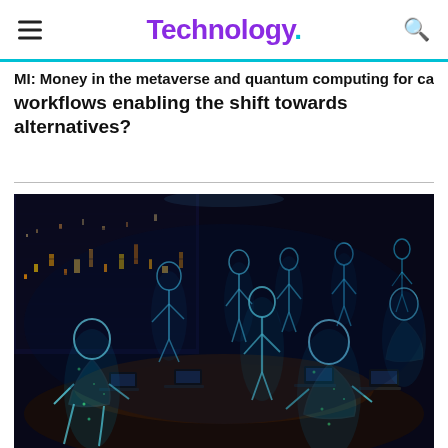Technology.
MI: Money in the metaverse and quantum computing for ca... workflows enabling the shift towards alternatives?
[Figure (photo): A dark futuristic meeting room scene with multiple glowing blue holographic human figures standing and sitting around a table with laptops, city skyline visible through windows at night — representing the metaverse or virtual reality workplace.]